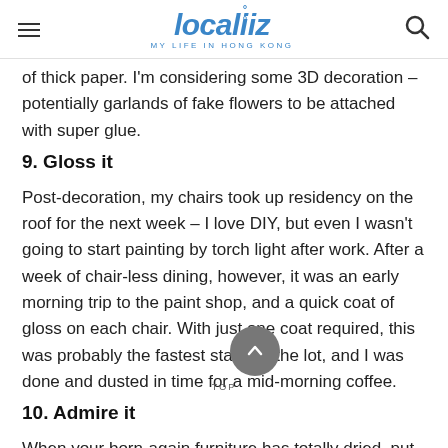localiiz MY LIFE IN HONG KONG
of thick paper. I'm considering some 3D decoration – potentially garlands of fake flowers to be attached with super glue.
9. Gloss it
Post-decoration, my chairs took up residency on the roof for the next week – I love DIY, but even I wasn't going to start painting by torch light after work. After a week of chair-less dining, however, it was an early morning trip to the paint shop, and a quick coat of gloss on each chair. With just one coat required, this was probably the fastest stage of the lot, and I was done and dusted in time for a mid-morning coffee.
10. Admire it
When your born-again furniture has totally dried, put it back in its place, lure your friends around with the